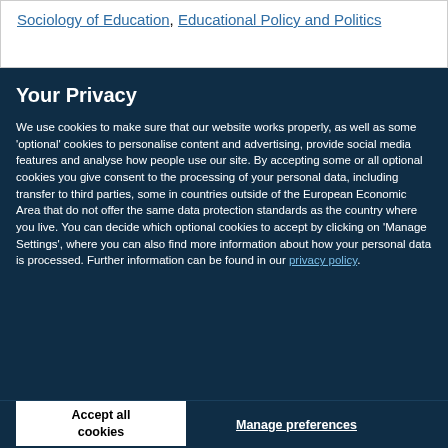Sociology of Education, Educational Policy and Politics
Your Privacy
We use cookies to make sure that our website works properly, as well as some 'optional' cookies to personalise content and advertising, provide social media features and analyse how people use our site. By accepting some or all optional cookies you give consent to the processing of your personal data, including transfer to third parties, some in countries outside of the European Economic Area that do not offer the same data protection standards as the country where you live. You can decide which optional cookies to accept by clicking on 'Manage Settings', where you can also find more information about how your personal data is processed. Further information can be found in our privacy policy.
Accept all cookies
Manage preferences